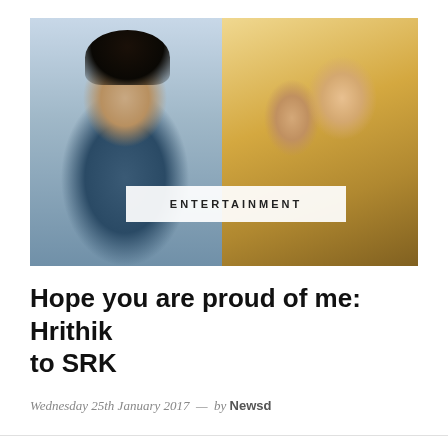[Figure (photo): Two side-by-side photos: left shows a man wearing sunglasses and a blue t-shirt (SRK), right shows a couple embracing and smiling in warm golden light (Hrithik Roshan). An 'ENTERTAINMENT' label badge overlays the bottom-center of the image.]
Hope you are proud of me: Hrithik to SRK
Wednesday 25th January 2017  —  by Newsd